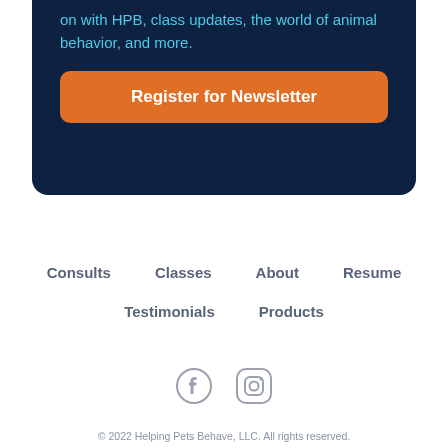on with HPB, class updates, the world of animal behavior, and more.
Register for Newsletter
Consults
Classes
About
Resume
Testimonials
Products
[Figure (illustration): Facebook and Instagram social media icons in gray]
© 2022 Helping Pets Behave, LLC. All rights reserved.